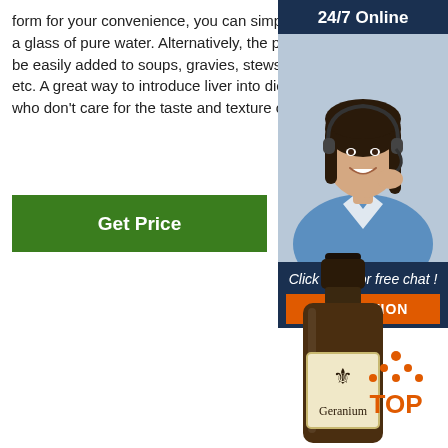form for your convenience, you can simply take with a glass of pure water. Alternatively, the powder can be easily added to soups, gravies, stews, broths, etc. A great way to introduce liver into diets of those who don't care for the taste and texture of liver...
Get Price
[Figure (photo): Customer service representative with headset, smiling. Dark navy background with '24/7 Online' header text and 'Click here for free chat!' text below, with an orange QUOTATION button.]
[Figure (photo): Dark amber glass essential oil bottle with black cap, labeled 'Geranium' with a fleur-de-lis symbol on a cream-colored label.]
[Figure (logo): Orange 'TOP' text with orange dot triangle pattern above it, resembling a back-to-top navigation button.]